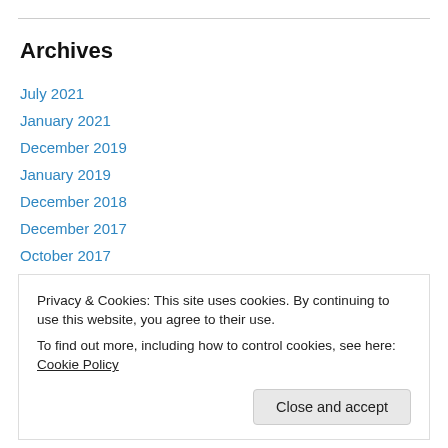Archives
July 2021
January 2021
December 2019
January 2019
December 2018
December 2017
October 2017
December 2016
September 2016
January 2016
May 2015
Privacy & Cookies: This site uses cookies. By continuing to use this website, you agree to their use.
To find out more, including how to control cookies, see here: Cookie Policy
Close and accept